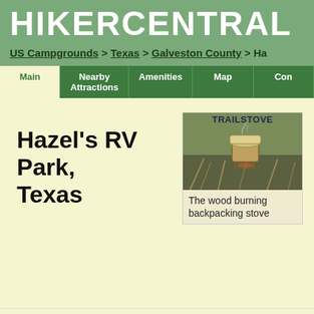HIKERCENTRAL
US Campgrounds > Texas > Galveston County > Ha
Main | Nearby Attractions | Amenities | Map | Con
Hazel's RV Park, Texas
[Figure (advertisement): TRAILSTOVE advertisement showing a wood burning backpacking stove with text 'The wood burning backpacking stove']